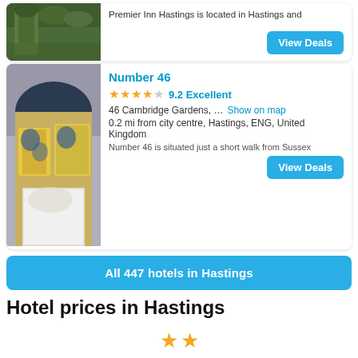[Figure (photo): Top partial hotel card showing a garden/building exterior photo on the left, with text 'Premier Inn Hastings is located in Hastings and' and a blue 'View Deals' button on the right.]
Premier Inn Hastings is located in Hastings and
[Figure (photo): Hotel room photo showing a bed with yellow floral pillows featuring peacock designs, with white pillows on top.]
Number 46
★★★★☆ 9.2 Excellent
46 Cambridge Gardens, … Show on map
0.2 mi from city centre, Hastings, ENG, United Kingdom
Number 46 is situated just a short walk from Sussex
All 447 hotels in Hastings
Hotel prices in Hastings
[Figure (other): Two gold star icons at the bottom of the page indicating a 2-star rating section.]